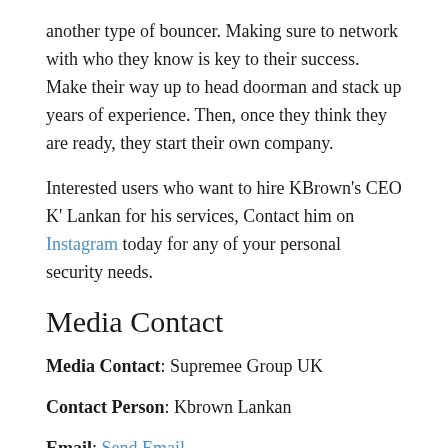another type of bouncer. Making sure to network with who they know is key to their success. Make their way up to head doorman and stack up years of experience. Then, once they think they are ready, they start their own company.
Interested users who want to hire KBrown's CEO K' Lankan for his services, Contact him on Instagram today for any of your personal security needs.
Media Contact
Media Contact: Supremee Group UK
Contact Person: Kbrown Lankan
Email: Send Email